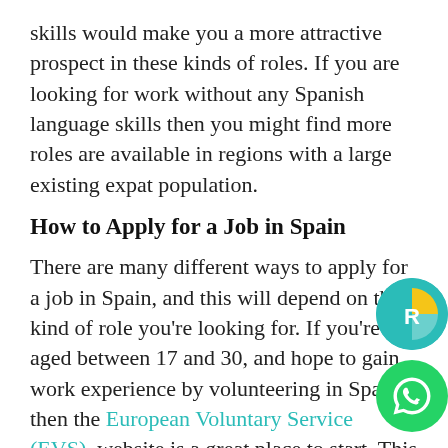skills would make you a more attractive prospect in these kinds of roles. If you are looking for work without any Spanish language skills then you might find more roles are available in regions with a large existing expat population.
How to Apply for a Job in Spain
There are many different ways to apply for a job in Spain, and this will depend on the kind of role you're looking for. If you're aged between 17 and 30, and hope to gain work experience by volunteering in Spain then the European Voluntary Service (EVS), website is a great place to start. This is a scheme that will enable you to work in Spain for up to 12 months: in exchange, you will be offered food, board, insurance and a small allowance. It's a great way for young people to gain experience of working overseas before you